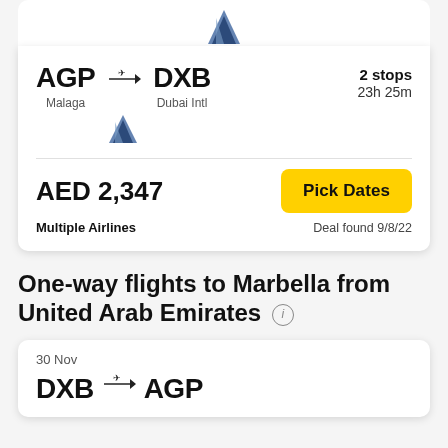[Figure (illustration): Airline tail logo icon (top, partial, above AGP-DXB card)]
AGP → DXB
Malaga    Dubai Intl
2 stops
23h 25m
[Figure (illustration): Airline tail logo icon (second, within card)]
AED 2,347
Pick Dates
Multiple Airlines
Deal found 9/8/22
One-way flights to Marbella from United Arab Emirates
30 Nov
DXB → AGP